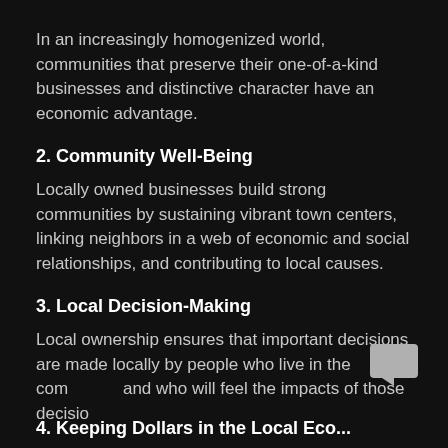In an increasingly homogenized world, communities that preserve their one-of-a-kind businesses and distinctive character have an economic advantage.
2. Community Well-Being
Locally owned businesses build strong communities by sustaining vibrant town centers, linking neighbors in a web of economic and social relationships, and contributing to local causes.
3. Local Decision-Making
Local ownership ensures that important decisions are made locally by people who live in the com and who will feel the impacts of those decisio
4. Keeping Dollars in the Local Eco...